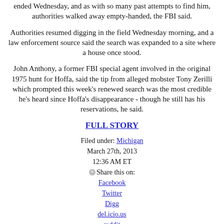ended Wednesday, and as with so many past attempts to find him, authorities walked away empty-handed, the FBI said.
Authorities resumed digging in the field Wednesday morning, and a law enforcement source said the search was expanded to a site where a house once stood.
John Anthony, a former FBI special agent involved in the original 1975 hunt for Hoffa, said the tip from alleged mobster Tony Zerilli which prompted this week's renewed search was the most credible he's heard since Hoffa's disappearance - though he still has his reservations, he said.
FULL STORY
Filed under: Michigan
March 27th, 2013
12:36 AM ET
Share this on:
Facebook
Twitter
Digg
del.icio.us
reddit
MySpace